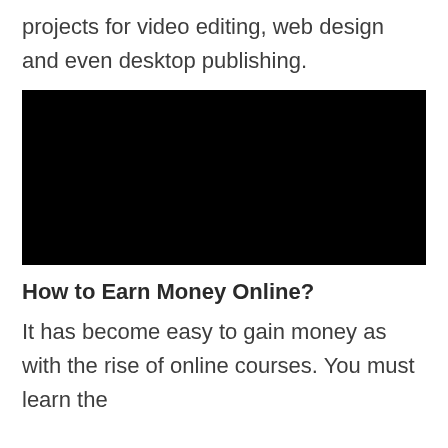projects for video editing, web design and even desktop publishing.
[Figure (photo): Black rectangle representing a video or image placeholder]
How to Earn Money Online?
It has become easy to gain money as with the rise of online courses. You must learn the